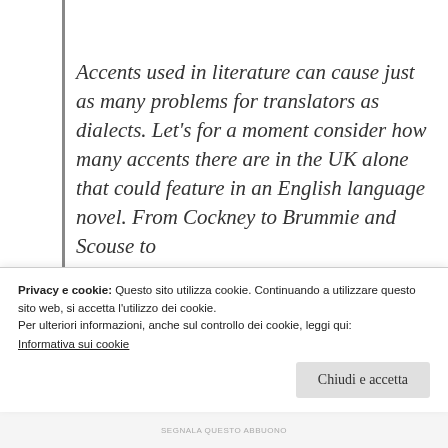Accents used in literature can cause just as many problems for translators as dialects. Let's for a moment consider how many accents there are in the UK alone that could feature in an English language novel. From Cockney to Brummie and Scouse to Gl...
Privacy e cookie: Questo sito utilizza cookie. Continuando a utilizzare questo sito web, si accetta l'utilizzo dei cookie. Per ulteriori informazioni, anche sul controllo dei cookie, leggi qui: Informativa sui cookie
Chiudi e accetta
SEGNALA QUESTO ABBUONO